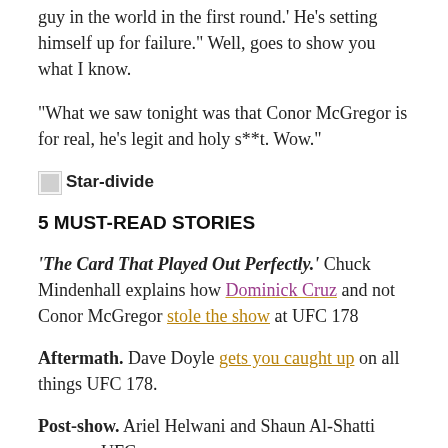guy in the world in the first round.' He's setting himself up for failure." Well, goes to show you what I know.
"What we saw tonight was that Conor McGregor is for real, he's legit and holy s**t. Wow."
[Figure (illustration): Star-divide decorative divider image with bold label text 'Star-divide']
5 MUST-READ STORIES
'The Card That Played Out Perfectly.' Chuck Mindenhall explains how Dominick Cruz and not Conor McGregor stole the show at UFC 178
Aftermath. Dave Doyle gets you caught up on all things UFC 178.
Post-show. Ariel Helwani and Shaun Al-Shatti wrap up UFC